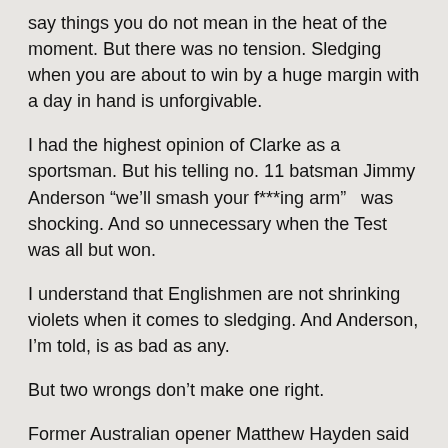say things you do not mean in the heat of the moment. But there was no tension. Sledging when you are about to win by a huge margin with a day in hand is unforgivable.
I had the highest opinion of Clarke as a sportsman. But his telling no. 11 batsman Jimmy Anderson “we’ll smash your f***ing arm”   was shocking. And so unnecessary when the Test was all but won.
I understand that Englishmen are not shrinking violets when it comes to sledging. And Anderson, I’m told, is as bad as any.
But two wrongs don’t make one right.
Former Australian opener Matthew Hayden said on Channel 7 tonight [Tuesday] that sledging is part and parcel of cricket, especially in Ashes.